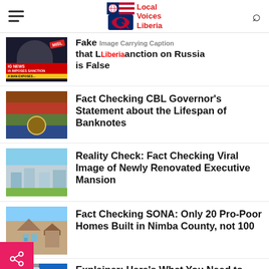Local Voices Liberia
Fake [image carrying caption] that [Liberia imposed] sanction on Russia is False
Fact Checking CBL Governor's Statement about the Lifespan of Banknotes
Reality Check: Fact Checking Viral Image of Newly Renovated Executive Mansion
Fact Checking SONA: Only 20 Pro-Poor Homes Built in Nimba County, not 100
Explainer: Here's What You Need to Know about Available Covid-19 Vaccines in